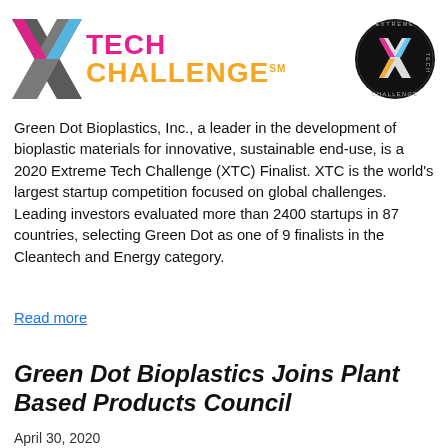[Figure (logo): Extreme Tech Challenge logo with stylized X mark on the left (grey and pink/magenta) and 'TECH CHALLENGE SM' text in pink and orange, plus a circular badge on the right with X and 'Extreme Tech Challenge' text]
Green Dot Bioplastics, Inc., a leader in the development of bioplastic materials for innovative, sustainable end-use, is a 2020 Extreme Tech Challenge (XTC) Finalist. XTC is the world's largest startup competition focused on global challenges. Leading investors evaluated more than 2400 startups in 87 countries, selecting Green Dot as one of 9 finalists in the Cleantech and Energy category.
Read more
Green Dot Bioplastics Joins Plant Based Products Council
April 30, 2020